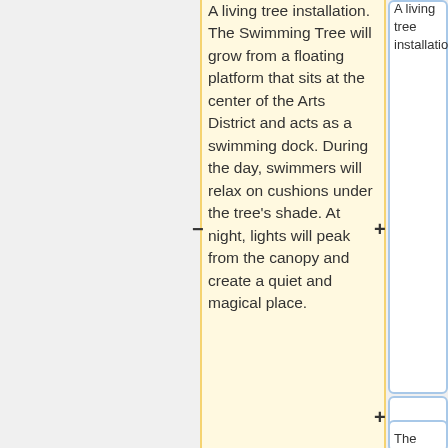A living tree installation. The Swimming Tree will grow from a floating platform that sits at the center of the Arts District and acts as a swimming dock. During the day, swimmers will relax on cushions under the tree's shade. At night, lights will peak from the canopy and create a quiet and magical place.
A living tree installation.
The Swimming